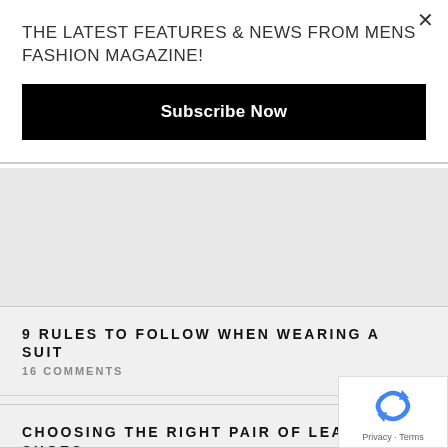THE LATEST FEATURES & NEWS FROM MENS FASHION MAGAZINE!
Subscribe Now
9 RULES TO FOLLOW WHEN WEARING A SUIT
16 COMMENTS
CHOOSING THE RIGHT PAIR OF LEATHER SHOES
15 COMMENTS